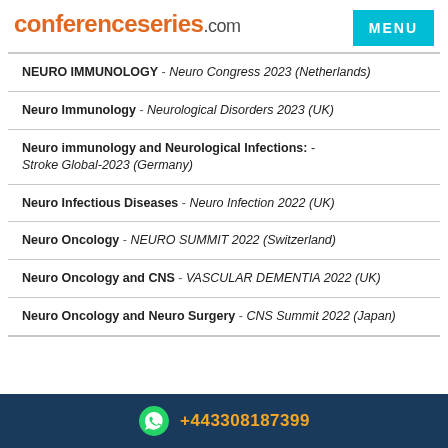conferenceseries.com
NEURO IMMUNOLOGY - Neuro Congress 2023 (Netherlands)
Neuro Immunology - Neurological Disorders 2023 (UK)
Neuro immunology and Neurological Infections: - Stroke Global-2023 (Germany)
Neuro Infectious Diseases - Neuro Infection 2022 (UK)
Neuro Oncology - NEURO SUMMIT 2022 (Switzerland)
Neuro Oncology and CNS - VASCULAR DEMENTIA 2022 (UK)
Neuro Oncology and Neuro Surgery - CNS Summit 2022 (Japan)
+443308187399